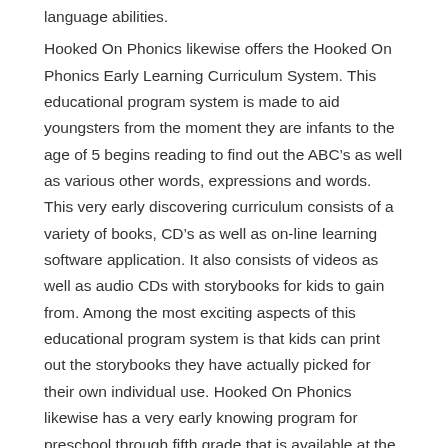language abilities.
Hooked On Phonics likewise offers the Hooked On Phonics Early Learning Curriculum System. This educational program system is made to aid youngsters from the moment they are infants to the age of 5 begins reading to find out the ABC’s as well as various other words, expressions and words. This very early discovering curriculum consists of a variety of books, CD’s as well as on-line learning software application. It also consists of videos as well as audio CDs with storybooks for kids to gain from. Among the most exciting aspects of this educational program system is that kids can print out the storybooks they have actually picked for their own individual use. Hooked On Phonics likewise has a very early knowing program for preschool through fifth grade that is available at the web site.
>>> CLICK HERE FOR THE BEST & EASIEST LEARN TO READ PROGRAM AVAILABLE <<<